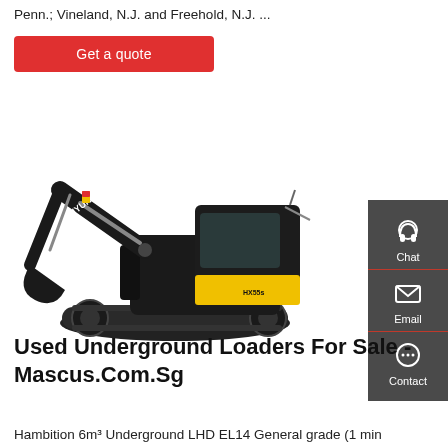Penn.; Vineland, N.J. and Freehold, N.J. ...
Get a quote
[Figure (photo): Hyundai HX55s mini excavator on white background, dark/black and yellow color scheme, crawler tracks, digging arm extended to left]
Used Underground Loaders For Sale - Mascus.Com.Sg
Hambition 6m³ Underground LHD EL14 General grade (1 min